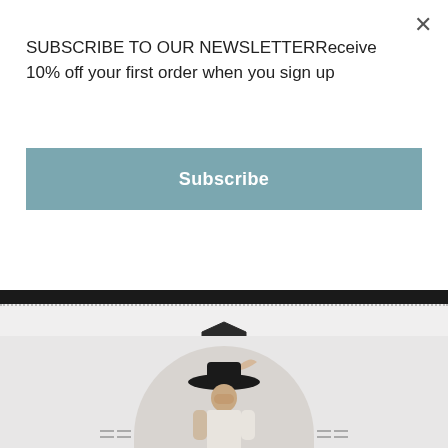SUBSCRIBE TO OUR NEWSLETTERReceive 10% off your first order when you sign up
Subscribe
[Figure (screenshot): Website screenshot showing a newsletter subscription modal overlay on top of a fashion brand page. The modal has a subscribe button in muted teal color. Below the modal is a dark header bar, dotted separator, shield logo icon, and 'ABOUT THE SOCIETY INC / BY SIRELLA COURT' text. The bottom portion shows a circular photo backdrop with a woman wearing a wide-brimmed black hat and white outfit posing with hand over face.]